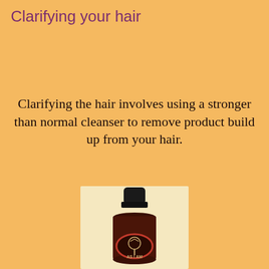Clarifying your hair
Clarifying the hair involves using a stronger than normal cleanser to remove product build up from your hair.
[Figure (photo): A dark amber bottle of As I Am hair product with a black cap, photographed against the orange background.]